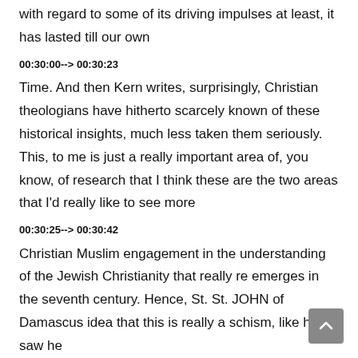with regard to some of its driving impulses at least, it has lasted till our own
00:30:00--> 00:30:23
Time. And then Kern writes, surprisingly, Christian theologians have hitherto scarcely known of these historical insights, much less taken them seriously. This, to me is just a really important area of, you know, of research that I think these are the two areas that I'd really like to see more
00:30:25--> 00:30:42
Christian Muslim engagement in the understanding of the Jewish Christianity that really re emerges in the seventh century. Hence, St. St. JOHN of Damascus idea that this is really a schism, like he saw he